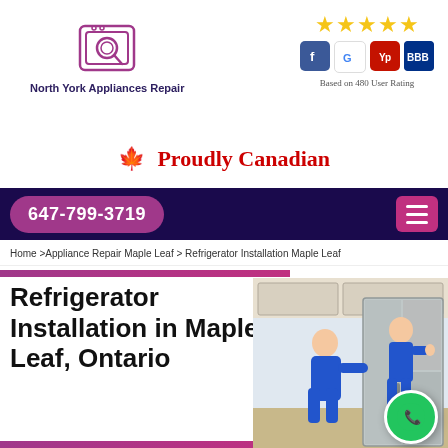[Figure (logo): North York Appliances Repair logo with appliance icon]
North York Appliances Repair
[Figure (infographic): Five gold stars rating with Facebook, Google, Yelp, BBB social/review icons below, and text 'Based on 480 User Rating']
Based on 480 User Rating
🍁 Proudly Canadian
647-799-3719
Home >Appliance Repair Maple Leaf > Refrigerator Installation Maple Leaf
Refrigerator Installation in Maple Leaf, Ontario
[Figure (photo): Two workers in blue uniforms installing a stainless steel refrigerator in a kitchen]